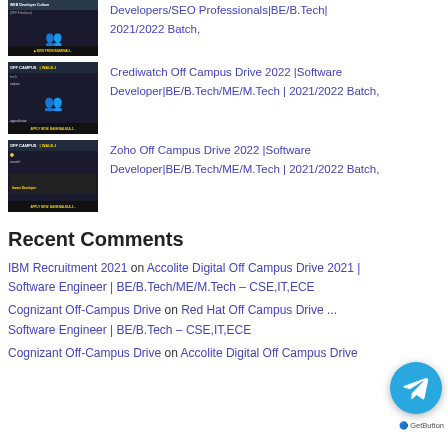[Figure (photo): Thumbnail for Developers/SEO Professionals job listing - dark background with text overlay]
Developers/SEO Professionals|BE/B.Tech|2021/2022 Batch,
[Figure (photo): Off Campus Walk-In thumbnail for Crediwatch - dark background with people silhouettes]
Crediwatch Off Campus Drive 2022 |Software Developer|BE/B.Tech/ME/M.Tech | 2021/2022 Batch,
[Figure (photo): Off Campus Walk-In thumbnail for Zoho - dark background with people silhouettes]
Zoho Off Campus Drive 2022 |Software Developer|BE/B.Tech/ME/M.Tech | 2021/2022 Batch,
Recent Comments
IBM Recruitment 2021 on Accolite Digital Off Campus Drive 2021 | Software Engineer | BE/B.Tech/ME/M.Tech – CSE,IT,ECE
Cognizant Off-Campus Drive on Red Hat Off Campus Drive Software Engineer | BE/B.Tech – CSE,IT,ECE
Cognizant Off-Campus Drive on Accolite Digital Off Campus Drive